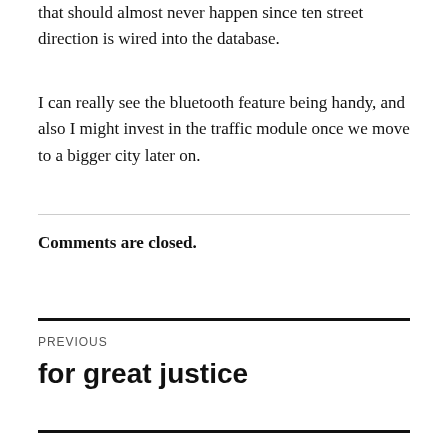that should almost never happen since ten street direction is wired into the database.
I can really see the bluetooth feature being handy, and also I might invest in the traffic module once we move to a bigger city later on.
Comments are closed.
PREVIOUS
for great justice